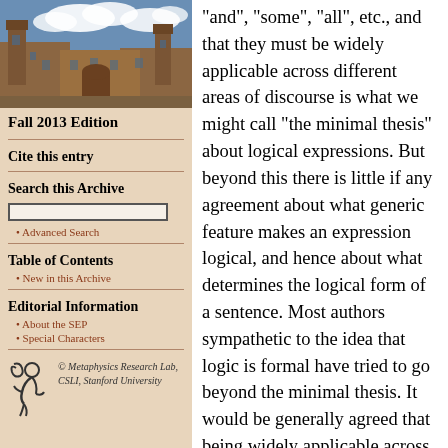[Figure (photo): Aerial/exterior view of a historic stone university campus building with towers against a blue sky with clouds]
Fall 2013 Edition
Cite this entry
Search this Archive
Advanced Search
Table of Contents
New in this Archive
Editorial Information
About the SEP
Special Characters
[Figure (logo): Metaphysics Research Lab logo with stylized figure and copyright text: © Metaphysics Research Lab, CSLI, Stanford University]
“and”, “some”, “all”, etc., and that they must be widely applicable across different areas of discourse is what we might call “the minimal thesis” about logical expressions. But beyond this there is little if any agreement about what generic feature makes an expression logical, and hence about what determines the logical form of a sentence. Most authors sympathetic to the idea that logic is formal have tried to go beyond the minimal thesis. It would be generally agreed that being widely applicable across different areas of discourse is only a necessary, not sufficient property of logical expressions;